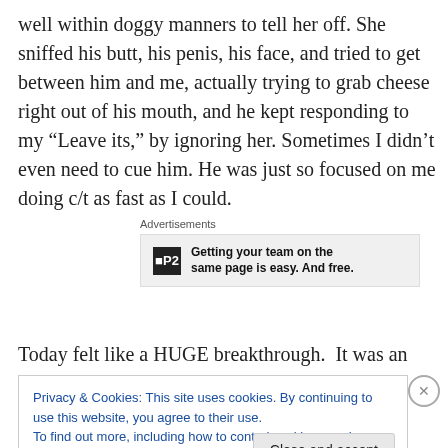well within doggy manners to tell her off. She sniffed his butt, his penis, his face, and tried to get between him and me, actually trying to grab cheese right out of his mouth, and he kept responding to my “Leave its,” by ignoring her. Sometimes I didn’t even need to cue him. He was just so focused on me doing c/t as fast as I could.
[Figure (other): Advertisement block with P2 logo and text: Getting your team on the same page is easy. And free.]
Today felt like a HUGE breakthrough.  It was an almost
Privacy & Cookies: This site uses cookies. By continuing to use this website, you agree to their use.
To find out more, including how to control cookies, see here: Cookie Policy